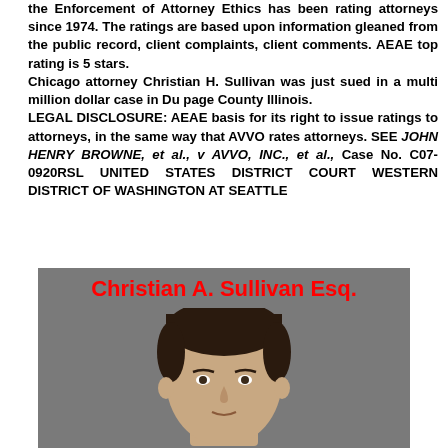the Enforcement of Attorney Ethics has been rating attorneys since 1974. The ratings are based upon information gleaned from the public record, client complaints, client comments. AEAE top rating is 5 stars.
Chicago attorney Christian H. Sullivan was just sued in a multi million dollar case in Du page County Illinois.
LEGAL DISCLOSURE: AEAE basis for its right to issue ratings to attorneys, in the same way that AVVO rates attorneys. SEE JOHN HENRY BROWNE, et al., v AVVO, INC., et al., Case No. C07-0920RSL UNITED STATES DISTRICT COURT WESTERN DISTRICT OF WASHINGTON AT SEATTLE
[Figure (photo): Photo of Christian A. Sullivan Esq. — headshot showing the top of a man's head with dark hair against a gray background, with a red bold caption 'Christian A. Sullivan Esq.' at the top of the image.]